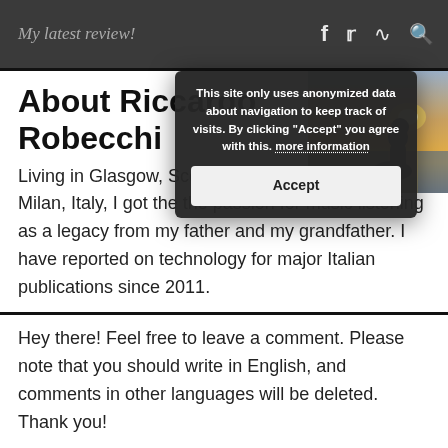My latest review!
About Riccardo Robecchi
Living in Glasgow, Scotland, born and raised near Milan, Italy, I got the the passion for music listening as a legacy from my father and my grandfather. I have reported on technology for major Italian publications since 2011.
[Figure (photo): Silhouette of a person sitting by the sea at sunset]
This site only uses anonymized data about navigation to keep track of visits. By clicking "Accept" you agree with this. more information
Accept
Hey there! Feel free to leave a comment. Please note that you should write in English, and comments in other languages will be deleted. Thank you!